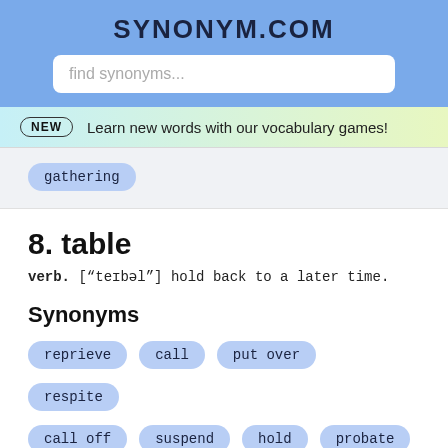SYNONYM.COM
find synonyms...
NEW  Learn new words with our vocabulary games!
gathering
8. table
verb. ["teɪbəl"] hold back to a later time.
Synonyms
reprieve
call
put over
respite
call off
suspend
hold
probate